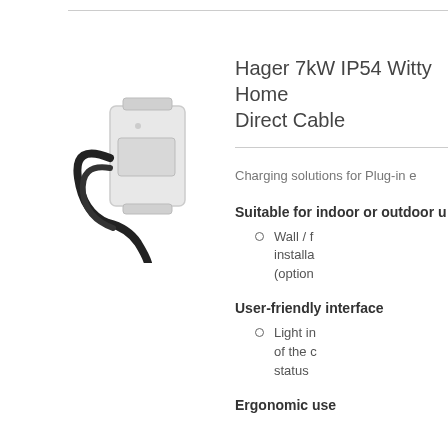[Figure (photo): Hager Witty Home EV charger wall unit — white rectangular box with a black cable coiled around the left side, mounted on a wall bracket]
Hager 7kW IP54 Witty Home Direct Cable
Charging solutions for Plug-in e
Suitable for indoor or outdoor u
Wall / f installa (option
User-friendly interface
Light in of the c status
Ergonomic use